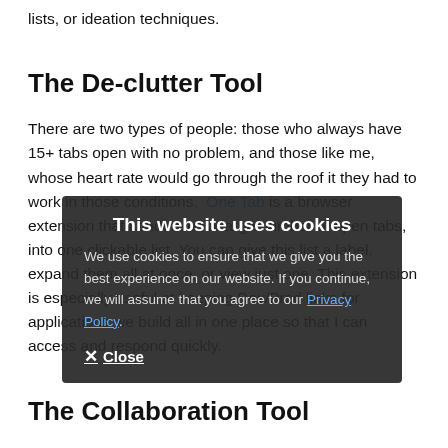lists, or ideation techniques.
The De-clutter Tool
There are two types of people: those who always have 15+ tabs open with no problem, and those like me, whose heart rate would go through the roof it they had to work in those conditions. One Tab is a browser extension that condenses a large number of open tabs, into one clickable list. You can give this list a label, expand them all at once, or view just one. This extension is especially useful at keeping Dev/Prod links for applications we build all in one place so that I can access and respond quickly.
The Collaboration Tool
Keeping information in one place can be hard when there's email, Gchat, Slack messaging, conference calls, and a dozen other ways to facilitate communication. With a recent move to Slack at our Chicago office, I've experienced
This website uses cookies
We use cookies to ensure that we give you the best experience on our website. If you continue, we will assume that you agree to our Privacy Policy.
✕ Close